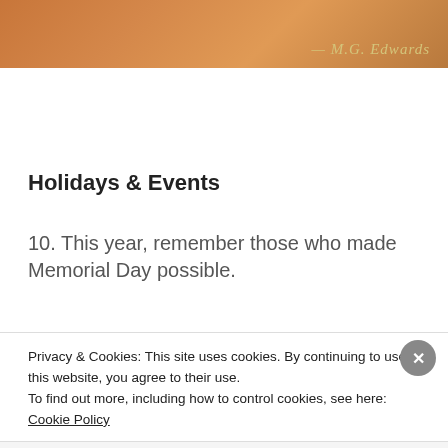[Figure (photo): Orange/amber colored book cover or banner image with italic script signature reading '— M.G. Edwards' in golden cursive text at bottom right]
Holidays & Events
10. This year, remember those who made Memorial Day possible.
[Figure (photo): Close-up photo of the Vietnam Veterans Memorial wall with engraved names including: E GIDEON, IRTI GABEL, CRISTOBAL FIGUEROA-PEREZ, DELPERD B DUNIFER, JOHN P CULP, GOTTWALD JN, JAN R GILLHAM, LEANDRO GARCIA, SILAS E GIBSON, TED W EDWA, HEISSEN, PHILLIP O GUI, KENNETH E GOL, GARY R FITCH, RU, and others]
Privacy & Cookies: This site uses cookies. By continuing to use this website, you agree to their use.
To find out more, including how to control cookies, see here: Cookie Policy
Close and accept